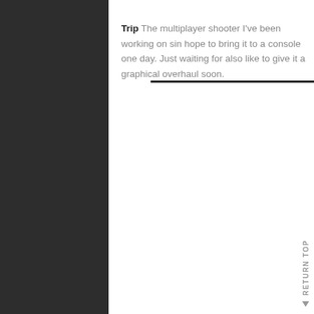Trip The multiplayer shooter I've been working on sin… hope to bring it to a console one day. Just waiting for… also like to give it a graphical overhaul soon.
▲ RETURN TOP